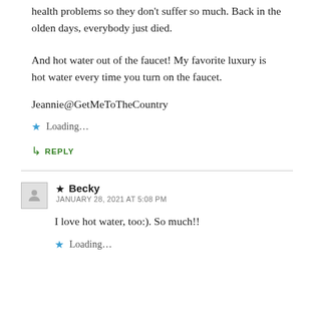health problems so they don't suffer so much. Back in the olden days, everybody just died.
And hot water out of the faucet! My favorite luxury is hot water every time you turn on the faucet.
Jeannie@GetMeToTheCountry
Loading...
REPLY
Becky
JANUARY 28, 2021 AT 5:08 PM
I love hot water, too:). So much!!
Loading...